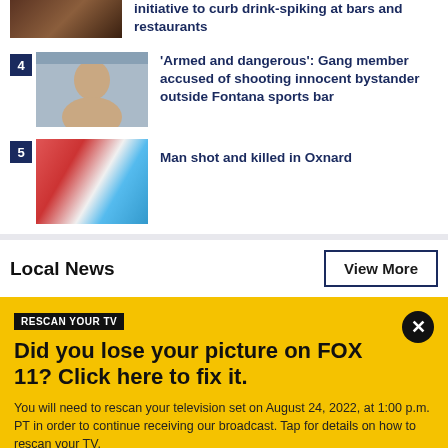[Figure (photo): Partial thumbnail of a bar/restaurant scene, top cut off]
initiative to curb drink-spiking at bars and restaurants
[Figure (photo): Mugshot of a young man, gang member accused of shooting]
'Armed and dangerous': Gang member accused of shooting innocent bystander outside Fontana sports bar
[Figure (photo): Police lights blur, red and blue flashing lights]
Man shot and killed in Oxnard
Local News
View More
Did you lose your picture on FOX 11? Click here to fix it.
You will need to rescan your television set on August 24, 2022, at 1:00 p.m. PT in order to continue receiving our broadcast. Tap for details on how to rescan your TV.